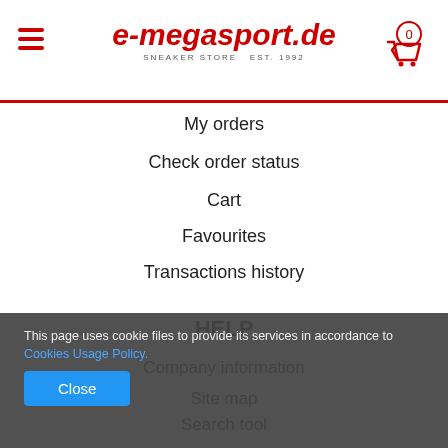[Figure (logo): e-megasport.de sneaker store logo with hamburger menu and cart icon]
My orders
Check order status
Cart
Favourites
Transactions history
HELP
Company information
Site map
Search tool
This page uses cookie files to provide its services in accordance to Cookies Usage Policy.
Close